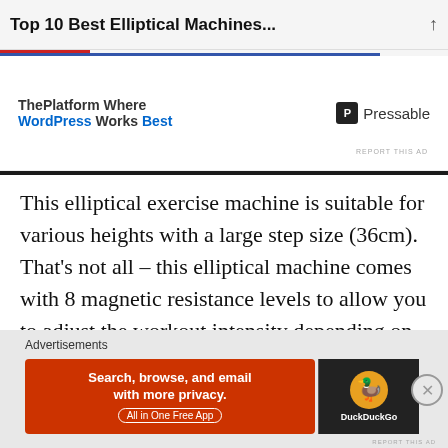Top 10 Best Elliptical Machines...
[Figure (screenshot): Pressable ad banner: ThePlatform Where WordPress Works Best, with Pressable logo]
This elliptical exercise machine is suitable for various heights with a large step size (36cm). That's not all – this elliptical machine comes with 8 magnetic resistance levels to allow you to adjust the workout intensity depending on the exercise requirements.
Pros
[Figure (screenshot): DuckDuckGo advertisement banner: Search, browse, and email with more privacy. All in One Free App. With DuckDuckGo logo.]